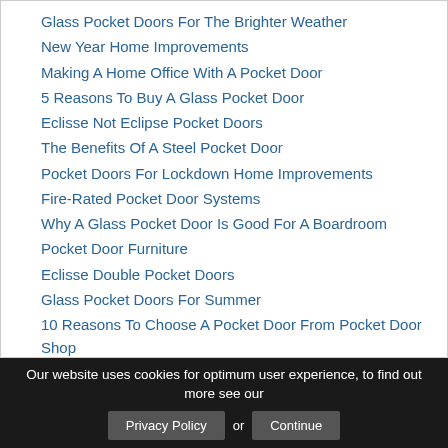Glass Pocket Doors For The Brighter Weather
New Year Home Improvements
Making A Home Office With A Pocket Door
5 Reasons To Buy A Glass Pocket Door
Eclisse Not Eclipse Pocket Doors
The Benefits Of A Steel Pocket Door
Pocket Doors For Lockdown Home Improvements
Fire-Rated Pocket Door Systems
Why A Glass Pocket Door Is Good For A Boardroom
Pocket Door Furniture
Eclisse Double Pocket Doors
Glass Pocket Doors For Summer
10 Reasons To Choose A Pocket Door From Pocket Door Shop
The Benefits Of The New Touch Latch Accessory
Have You Considered A Flush Pocket Door System?
Have You Considered Sliding Door...
Our website uses cookies for optimum user experience, to find out more see our Privacy Policy or Continue